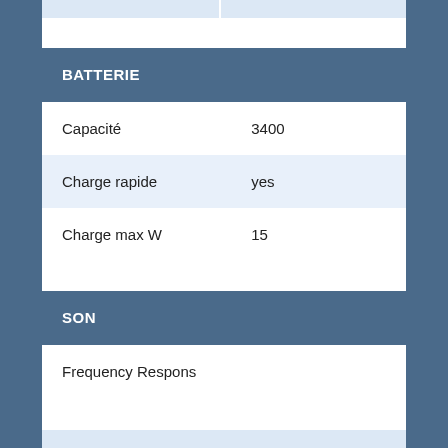|  |  |
| --- | --- |
| Capacité | 3400 |
| Charge rapide | yes |
| Charge max W | 15 |
BATTERIE
SON
|  |  |
| --- | --- |
| Frequency Respons |  |